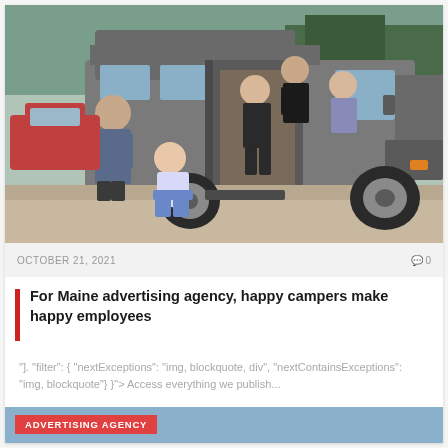[Figure (photo): Group photo of five people posing with a grey conversion van/camper van, parked on gravel near a waterfront with trees in background. Some people stand around the van while others sit in the doorway.]
OCTOBER 21, 2021
0
For Maine advertising agency, happy campers make happy employees
"]. "filter": { "nextExceptions": "img, blockquote, div", "nextContainsExceptions": "img, blockquote"} }"> Access everything we publish...
ADVERTISING AGENCY